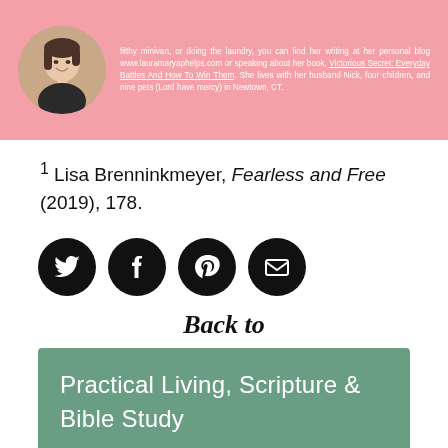[Figure (photo): Pink banner with circular author headshot photo on the left and descriptive author bio text on the right in white on pink background.]
1 Lisa Brenninkmeyer, Fearless and Free (2019), 178.
[Figure (infographic): Four black circular social media icon buttons: Twitter bird, Facebook f, Pinterest p, and envelope/email icon.]
Back to
Practical Living, Scripture & Bible Study